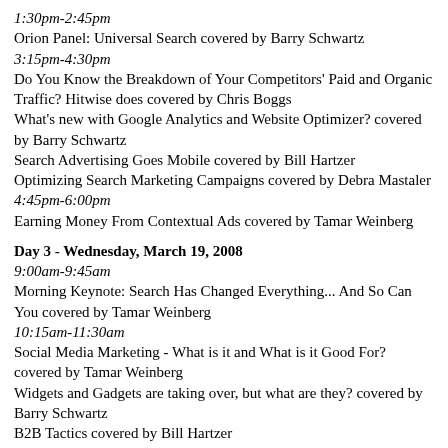1:30pm-2:45pm
Orion Panel: Universal Search covered by Barry Schwartz
3:15pm-4:30pm
Do You Know the Breakdown of Your Competitors' Paid and Organic Traffic? Hitwise does covered by Chris Boggs
What's new with Google Analytics and Website Optimizer? covered by Barry Schwartz
Search Advertising Goes Mobile covered by Bill Hartzer
Optimizing Search Marketing Campaigns covered by Debra Mastaler
4:45pm-6:00pm
Earning Money From Contextual Ads covered by Tamar Weinberg
Day 3 - Wednesday, March 19, 2008
9:00am-9:45am
Morning Keynote: Search Has Changed Everything... And So Can You covered by Tamar Weinberg
10:15am-11:30am
Social Media Marketing - What is it and What is it Good For? covered by Tamar Weinberg
Widgets and Gadgets are taking over, but what are they? covered by Barry Schwartz
B2B Tactics covered by Bill Hartzer
1:00pm-2:15pm